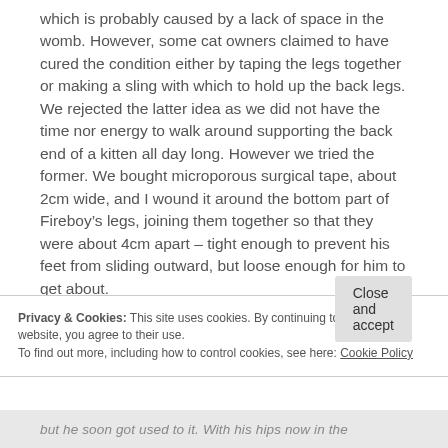which is probably caused by a lack of space in the womb. However, some cat owners claimed to have cured the condition either by taping the legs together or making a sling with which to hold up the back legs. We rejected the latter idea as we did not have the time nor energy to walk around supporting the back end of a kitten all day long. However we tried the former. We bought microporous surgical tape, about 2cm wide, and I wound it around the bottom part of Fireboy's legs, joining them together so that they were about 4cm apart – tight enough to prevent his feet from sliding outward, but loose enough for him to get about.
Privacy & Cookies: This site uses cookies. By continuing to use this website, you agree to their use.
To find out more, including how to control cookies, see here: Cookie Policy
Close and accept
but he soon got used to it. With his hips now in the